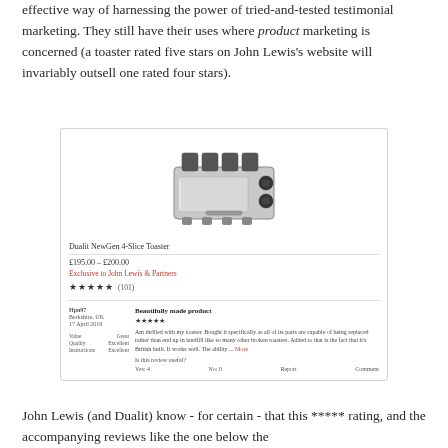effective way of harnessing the power of tried-and-tested testimonial marketing. They still have their uses where product marketing is concerned (a toaster rated five stars on John Lewis's website will invariably outsell one rated four stars).
[Figure (screenshot): Screenshot of a John Lewis product listing for a Dualit NewGen 4-Slice Toaster, showing price £195.00–£200.00, 'Exclusive to John Lewis & Partners' label, five star rating with 101 reviews, and a customer review titled 'Beautifully made product' with five stars praising the toaster's British build and replaceable parts.]
John Lewis (and Dualit) know - for certain - that this ***** rating, and the accompanying reviews like the one below the